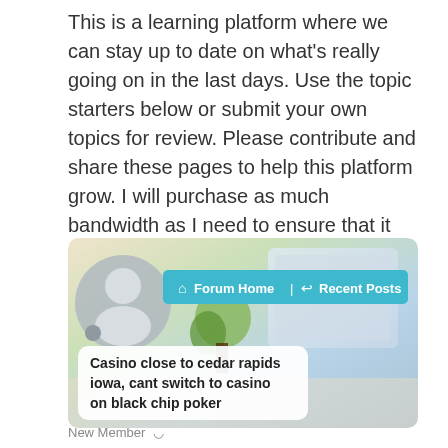This is a learning platform where we can stay up to date on what's really going on in the last days. Use the topic starters below or submit your own topics for review. Please contribute and share these pages to help this platform grow. I will purchase as much bandwidth as I need to ensure that it can handle the traffic. Thanks SMHP
[Figure (screenshot): Screenshot of a forum website showing a user avatar placeholder, a teal navigation bar with Forum Home and Recent Posts links, a background photo of a desk with plant and laptop, and a white card overlay with text: Casino close to cedar rapids iowa, cant switch to casino on black chip poker]
New Member